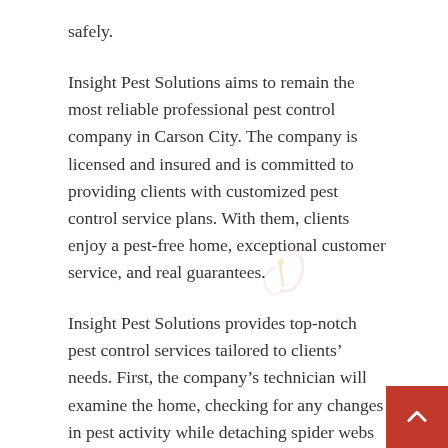safely.
Insight Pest Solutions aims to remain the most reliable professional pest control company in Carson City. The company is licensed and insured and is committed to providing clients with customized pest control service plans. With them, clients enjoy a pest-free home, exceptional customer service, and real guarantees.
Insight Pest Solutions provides top-notch pest control services tailored to clients' needs. First, the company's technician will examine the home, checking for any changes in pest activity while detaching spider webs around the perimeter. The client will then receive a notification in advance – a week before the next appointment. Qualified technicians will then review inspection explaining the pest activity found and the